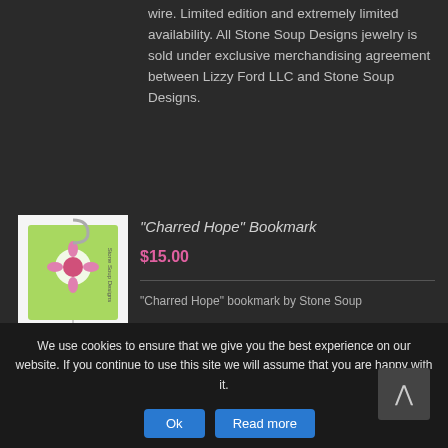wire. Limited edition and extremely limited availability. All Stone Soup Designs jewelry is sold under exclusive merchandising agreement between Lizzy Ford LLC and Stone Soup Designs.
[Figure (photo): Product photo of 'Charred Hope' Bookmark by Stone Soup Designs, showing a green decorative bookmark with floral design and hanging charm]
"Charred Hope" Bookmark
$15.00
"Charred Hope" bookmark by Stone Soup
We use cookies to ensure that we give you the best experience on our website. If you continue to use this site we will assume that you are happy with it.
Ok
Read more